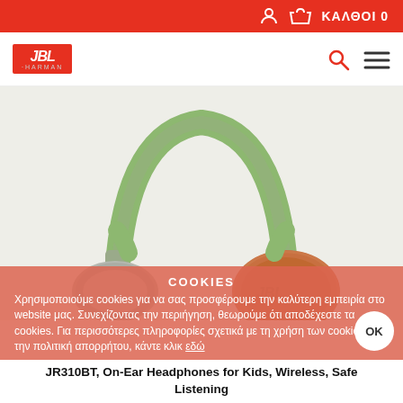ΚΑΛΘΟΙ 0
[Figure (logo): JBL by Harman logo in red box]
[Figure (photo): Green and grey JBL JR310BT on-ear headphones for kids, shown at an angle with one ear cup facing front]
COOKIES
Χρησιμοποιούμε cookies για να σας προσφέρουμε την καλύτερη εμπειρία στο website μας. Συνεχίζοντας την περιήγηση, θεωρούμε ότι αποδέχεστε τα cookies. Για περισσότερες πληροφορίες σχετικά με τη χρήση των cookies και την πολιτική απορρήτου, κάντε κλικ εδώ
JR310BT, On-Ear Headphones for Kids, Wireless, Safe Listening